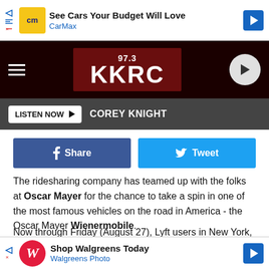[Figure (screenshot): CarMax advertisement banner with logo, text 'See Cars Your Budget Will Love' and 'CarMax']
[Figure (logo): 97.3 KKRC radio station header with red background, hamburger menu, station logo, and play button]
LISTEN NOW ▶  COREY KNIGHT
[Figure (infographic): Facebook Share button and Twitter Tweet button side by side]
The ridesharing company has teamed up with the folks at Oscar Mayer for the chance to take a spin in one of the most famous vehicles on the road in America - the Oscar Mayer Wienermobile.
Now through Friday (August 27), Lyft users in New York, Chicago, Los Angeles, and Atlanta will not only get a chance to book a trip in the iconic vehicle, but they'll also get to do it absolu
[Figure (screenshot): Walgreens Photo advertisement banner at bottom]